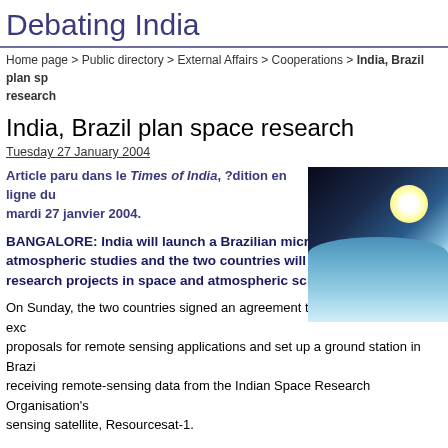Debating India
Home page > Public directory > External Affairs > Cooperations > India, Brazil plan space research
India, Brazil plan space research
Tuesday 27 January 2004
[Figure (photo): Space/Earth from orbit with sun glare]
Article paru dans le Times of India, ?dition en ligne du mardi 27 janvier 2004.
BANGALORE: India will launch a Brazilian micro-satellite for atmospheric studies and the two countries will embark on joint research projects in space and atmospheric sciences soon.
On Sunday, the two countries signed an agreement to this effect. They will exchange proposals for remote sensing applications and set up a ground station in Brazil for receiving remote-sensing data from the Indian Space Research Organisation's sensing satellite, Resourcesat-1.
India and Brazil signed the framework agreement in Delhi for cooperation "in the exploration and use of outer space," says ISRO, whose headquarters is here.